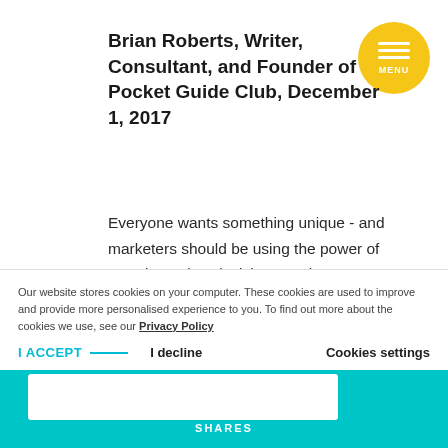Brian Roberts, Writer, Consultant, and Founder of Pocket Guide Club, December 1, 2017
Everyone wants something unique - and marketers should be using the power of scarcity and exclusivity to make customers feel special, according to Brian Roberts. This brief blog got me thinking about how we, as digital marketers, can create the feeling of a
Our website stores cookies on your computer. These cookies are used to improve and provide more personalised experience to you. To find out more about the cookies we use, see our Privacy Policy
I ACCEPT  I decline  Cookies settings
SHARES